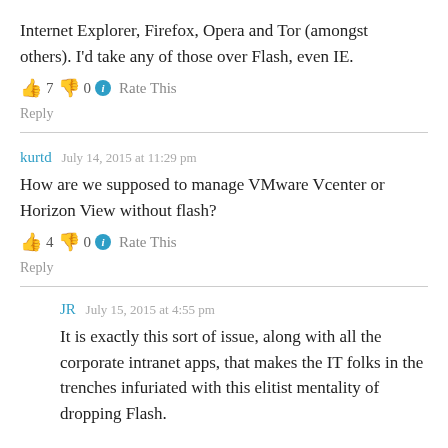Internet Explorer, Firefox, Opera and Tor (amongst others). I'd take any of those over Flash, even IE.
👍 7 👎 0 ℹ Rate This
Reply
kurtd   July 14, 2015 at 11:29 pm
How are we supposed to manage VMware Vcenter or Horizon View without flash?
👍 4 👎 0 ℹ Rate This
Reply
JR   July 15, 2015 at 4:55 pm
It is exactly this sort of issue, along with all the corporate intranet apps, that makes the IT folks in the trenches infuriated with this elitist mentality of dropping Flash.